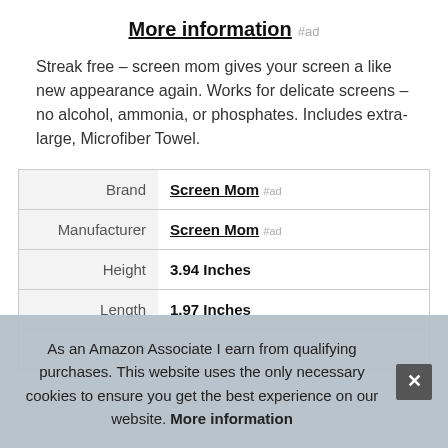More information #ad
Streak free – screen mom gives your screen a like new appearance again. Works for delicate screens – no alcohol, ammonia, or phosphates. Includes extra-large, Microfiber Towel.
| Attribute | Value |
| --- | --- |
| Brand | Screen Mom #ad |
| Manufacturer | Screen Mom #ad |
| Height | 3.94 Inches |
| Length | 1.97 Inches |
| P |  |
As an Amazon Associate I earn from qualifying purchases. This website uses the only necessary cookies to ensure you get the best experience on our website. More information